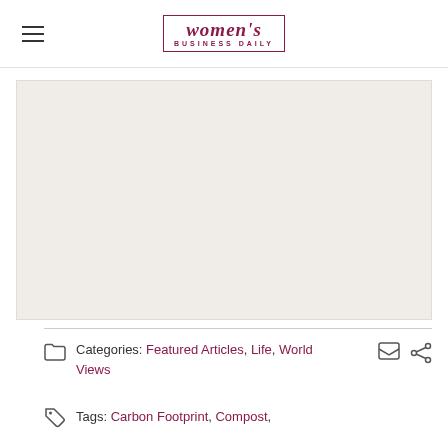women's BUSINESS DAILY
[Figure (photo): Large image placeholder area with light beige/grey background]
Categories: Featured Articles, Life, World Views
Tags: Carbon Footprint, Compost,